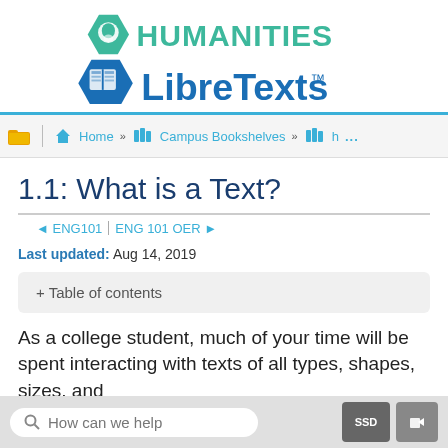[Figure (logo): Humanities LibreTexts logo with teal hexagon icon and blue LibreTexts wordmark]
Home » Campus Bookshelves » ...
1.1: What is a Text?
◄ ENG101 | ENG 101 OER ►
Last updated: Aug 14, 2019
+ Table of contents
As a college student, much of your time will be spent interacting with texts of all types, shapes, sizes, and
How can we help  SSD